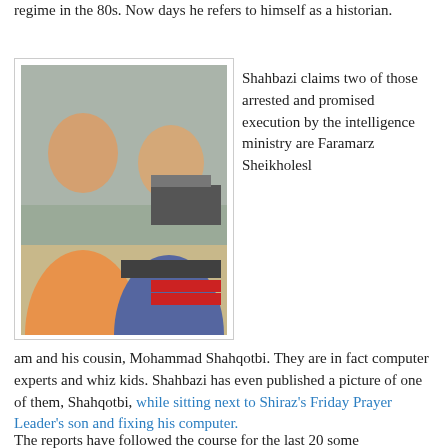regime in the 80s. Now days he refers to himself as a historian.
[Figure (photo): Two young men sitting together near a desk with computer equipment. One is wearing an orange long-sleeve shirt, the other a blue/grey sweater.]
Shahbazi claims two of those arrested and promised execution by the intelligence ministry are Faramarz Sheikholesl am and his cousin, Mohammad Shahqotbi. They are in fact computer experts and whiz kids. Shahbazi has even published a picture of one of them, Shahqotbi, while sitting next to Shiraz's Friday Prayer Leader's son and fixing his computer.
The reports have followed the course for the last 20 some